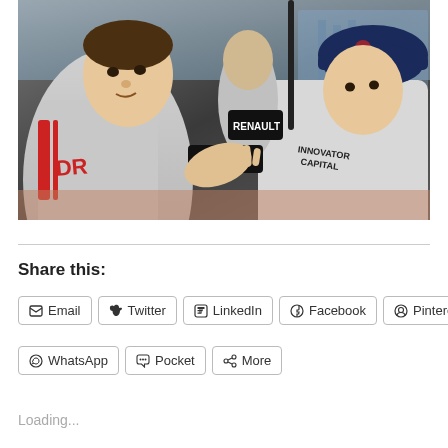[Figure (photo): Three racing drivers in white racing suits (with Renault branding visible) having a close conversation outdoors near a circuit, one pointing with fingers]
Share this:
Email
Twitter
LinkedIn
Facebook
Pinterest
WhatsApp
Pocket
More
Loading...